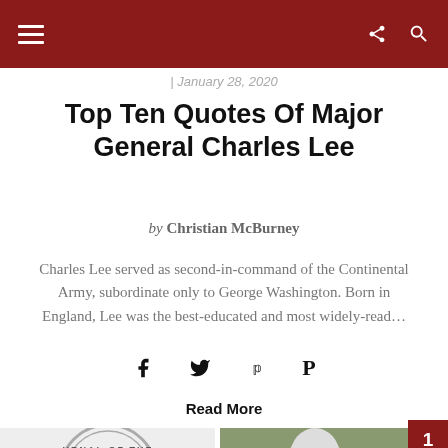January 28, 2020
Top Ten Quotes Of Major General Charles Lee
by Christian McBurney
Charles Lee served as second-in-command of the Continental Army, subordinate only to George Washington. Born in England, Lee was the best-educated and most widely-read...
Read More
[Figure (logo): Circular seal/logo with text 'URNAL OF THE AME' visible]
[Figure (photo): Photo of a person with gray/white hair outdoors]
1